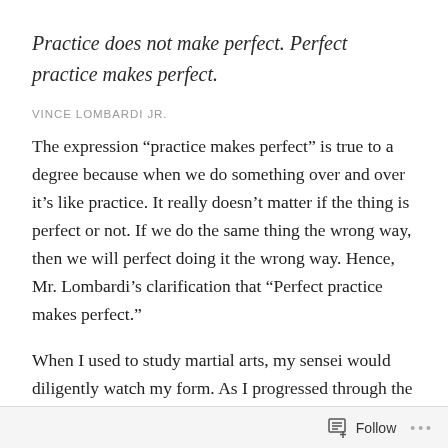Practice does not make perfect. Perfect practice makes perfect.
VINCE LOMBARDI JR.
The expression “practice makes perfect” is true to a degree because when we do something over and over it’s like practice. It really doesn’t matter if the thing is perfect or not. If we do the same thing the wrong way, then we will perfect doing it the wrong way. Hence, Mr. Lombardi’s clarification that “Perfect practice makes perfect.”
When I used to study martial arts, my sensei would diligently watch my form. As I progressed through the ranks, his attention shifted from making sure I did every kick and punch properly; to allowing me to work more on
Follow •••